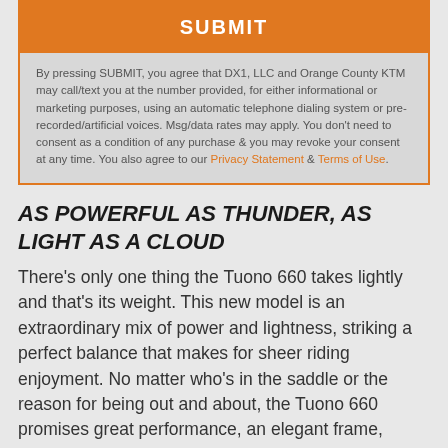SUBMIT
By pressing SUBMIT, you agree that DX1, LLC and Orange County KTM may call/text you at the number provided, for either informational or marketing purposes, using an automatic telephone dialing system or pre-recorded/artificial voices. Msg/data rates may apply. You don't need to consent as a condition of any purchase & you may revoke your consent at any time. You also agree to our Privacy Statement & Terms of Use.
AS POWERFUL AS THUNDER, AS LIGHT AS A CLOUD
There’s only one thing the Tuono 660 takes lightly and that’s its weight. This new model is an extraordinary mix of power and lightness, striking a perfect balance that makes for sheer riding enjoyment. No matter who’s in the saddle or the reason for being out and about, the Tuono 660 promises great performance, an elegant frame, plenty of premium features and, last, but not least, a fantastic riding experience.